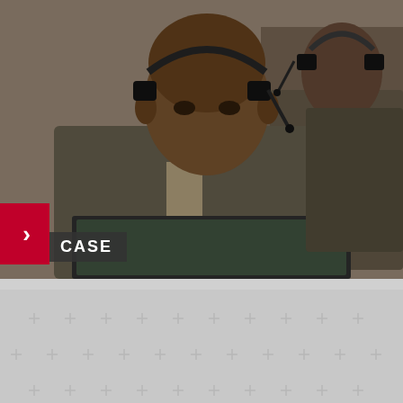[Figure (photo): Photograph of a man in a courtroom wearing a headset and suit jacket, seated at a desk with a monitor visible. Another person is partially visible behind him.]
CASE
Abdallah Banda Abakaer Nourain
Comandante del grupo rebelde Movimiento Justicia e Igualdad en Darfur. Colaboró inicialmente con la Corte, hoy es buscado por la CPI por crímenes de guerra durante los ataques a la misión de paz de la Unión Africana en 2007.
África